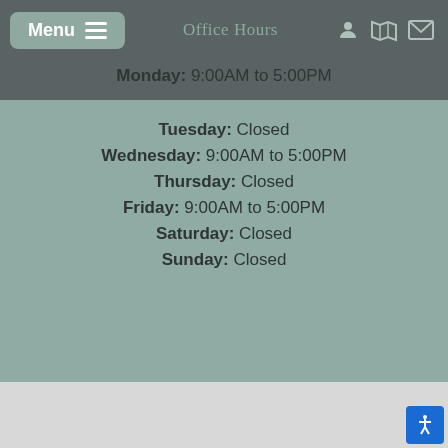Menu | Office Hours
Monday: 9:00AM to 5:00PM
Tuesday: Closed
Wednesday: 9:00AM to 5:00PM
Thursday: Closed
Friday: 9:00AM to 5:00PM
Saturday: Closed
Sunday: Closed